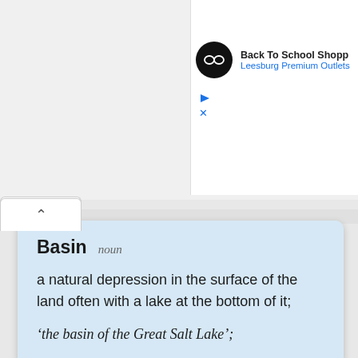[Figure (screenshot): Ad banner for Back To School Shopping at Leesburg Premium Outlets with a black circular logo with infinity-like symbol, play and close buttons]
Basin  noun
a natural depression in the surface of the land often with a lake at the bottom of it;
‘the basin of the Great Salt Lake’;
Tank  verb
(transitive) To put (fuel, etc.) into a tank.